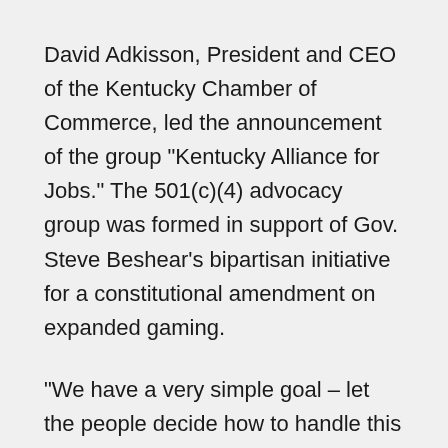David Adkisson, President and CEO of the Kentucky Chamber of Commerce, led the announcement of the group "Kentucky Alliance for Jobs." The 501(c)(4) advocacy group was formed in support of Gov. Steve Beshear's bipartisan initiative for a constitutional amendment on expanded gaming.
"We have a very simple goal – let the people decide how to handle this issue of casino gaming," said Adkisson, who represents the state's largest business organization with more than 2,700 business members. "Year after year, the Kentucky Chamber has polled business leaders across the state on this issue. And year after year